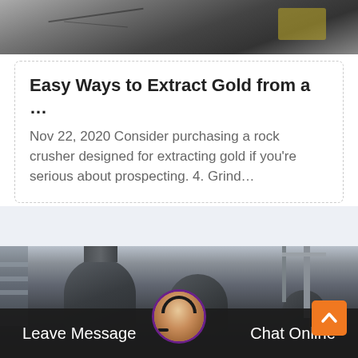[Figure (photo): Partial view of industrial/mining equipment or crushed rock surface, gray tones, top of page]
Easy Ways to Extract Gold from a …
Nov 22, 2020 Consider purchasing a rock crusher designed for extracting gold if you're serious about prospecting. 4. Grind…
[Figure (photo): Industrial cone crusher machines in a factory or mining facility, multiple large black crusher units visible, industrial building structure in background]
Leave Message
Chat Online